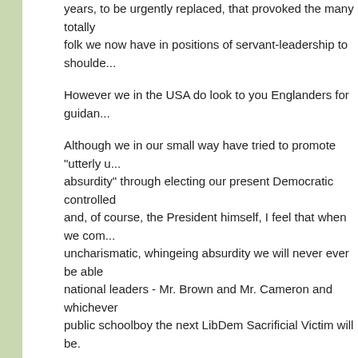years, to be urgently replaced, that provoked the many totally folk we now have in positions of servant-leadership to shoulde...
However we in the USA do look to you Englanders for guidan...
Although we in our small way have tried to promote "utterly u... absurdity" through electing our present Democratic controlled and, of course, the President himself, I feel that when we com... uncharismatic, whingeing absurdity we will never ever be able national leaders - Mr. Brown and Mr. Cameron and whichever public schoolboy the next LibDem Sacrificial Victim will be.
Brian
Florida
5:31 pm
Anonymous said...
The trouble with returning to the carrots and the onions is tha... up with the turnips running the show. Hang on in there - now's serious debate about what having a green leadership might m... debate, broadly speaking, has been held in a pretty serious a... notwithstanding rightwing trolls who would like reinstate order...